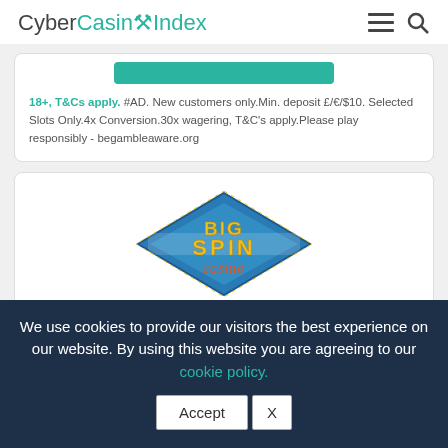CyberCasinoIndex
18+, T&Cs apply. #AD. New customers only.Min. deposit £/€/$10. Selected Slots Only.4x Conversion.30x wagering, T&C's apply.Please play responsibly - begambleaware.org
[Figure (logo): Big Spin Casino logo — blue diamond shape with yellow/gold 'BIG SPIN' text and orange 'casino' script]
🎁 200% up to $1,000 First Deposit Bonus!
We use cookies to provide our visitors the best experience on our website. By using this website you are agreeing to our cookie policy.